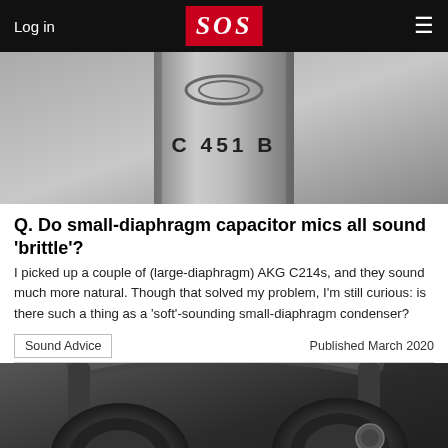Log in | SOS | ☰
[Figure (photo): Close-up photo of an AKG C 451 B small-diaphragm condenser microphone body showing the model name engraved on the metal surface]
Q. Do small-diaphragm capacitor mics all sound 'brittle'?
I picked up a couple of (large-diaphragm) AKG C214s, and they sound much more natural. Though that solved my problem, I'm still curious: is there such a thing as a 'soft'-sounding small-diaphragm condenser?
Sound Advice
Published March 2020
[Figure (photo): Close-up photo of black over-ear headphones viewed from above, showing the headband arc and ear cup with a metallic logo badge]